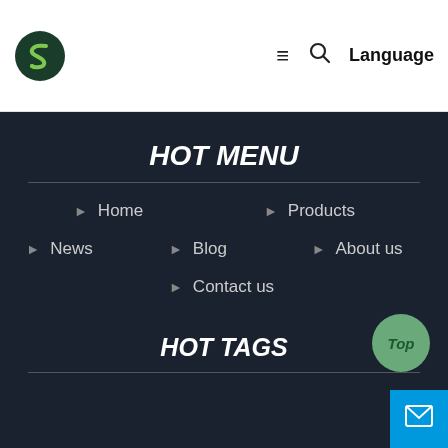Logo | ≡ 🔍 Language
HOT MENU
Home
Products
News
Blog
About us
Contact us
HOT TAGS